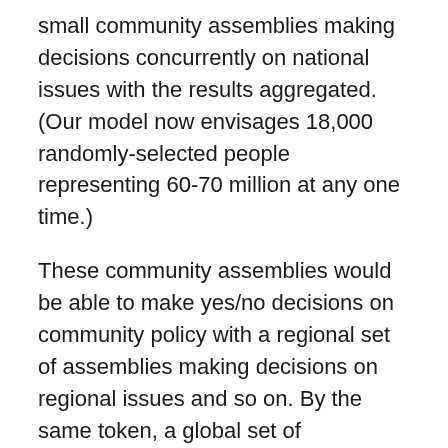small community assemblies making decisions concurrently on national issues with the results aggregated. (Our model now envisages 18,000 randomly-selected people representing 60-70 million at any one time.)
These community assemblies would be able to make yes/no decisions on community policy with a regional set of assemblies making decisions on regional issues and so on. By the same token, a global set of community assemblies could make yes/no decisions on issues affecting climate change or the global economy.
Rather than send delegates DVDs, we imagine a large pool of legal ‘advocates’ who are selected at random to present the case for either a ‘yes’